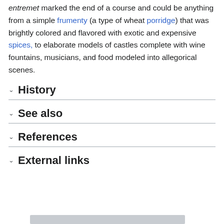entremet marked the end of a course and could be anything from a simple frumenty (a type of wheat porridge) that was brightly colored and flavored with exotic and expensive spices, to elaborate models of castles complete with wine fountains, musicians, and food modeled into allegorical scenes.
History
See also
References
External links